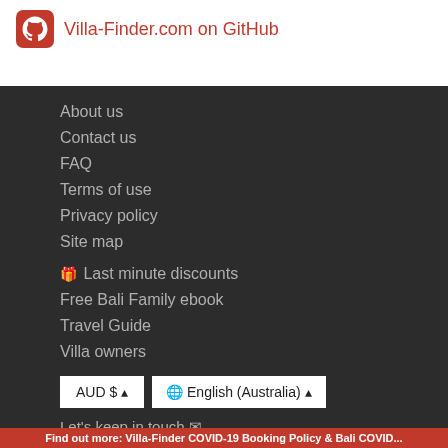[Figure (logo): GitHub logo icon (white octocat on red background) followed by 'Villa-Finder.com on GitHub' link text in red]
About us
Contact us
FAQ
Terms of use
Privacy policy
Site map
🎁 Last minute discounts
Free Bali Family ebook
Travel Guide
Villa owners
AUD $ ▲   🌐 English (Australia) ▲
Let's keep in touch ✉
Find out more: Villa-Finder COVID-19 Booking Policy & Bali COVID...